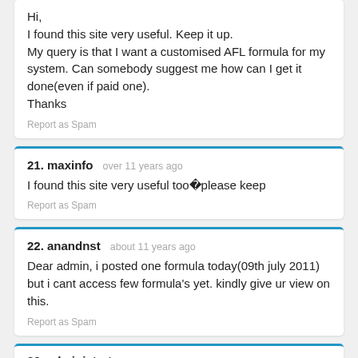Hi,
I found this site very useful. Keep it up.
My query is that I want a customised AFL formula for my system. Can somebody suggest me how can I get it done(even if paid one).
Thanks
Report as Spam
21. maxinfo   over 11 years ago
I found this site very useful tooÿplease keep
Report as Spam
22. anandnst   about 11 years ago
Dear admin, i posted one formula today(09th july 2011) but i cant access few formula’s yet. kindly give ur view on this.
Report as Spam
23. administrator   about 11 years ago (partial)